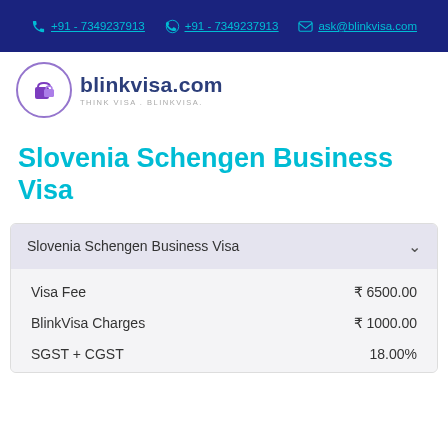+91 - 7349237913 | +91 - 7349237913 | ask@blinkvisa.com
[Figure (logo): blinkvisa.com logo with circular icon and tagline THINK VISA. BLINKVISA.]
Slovenia Schengen Business Visa
| Item | Amount |
| --- | --- |
| Slovenia Schengen Business Visa |  |
| Visa Fee | ₹ 6500.00 |
| BlinkVisa Charges | ₹ 1000.00 |
| SGST + CGST | 18.00% |